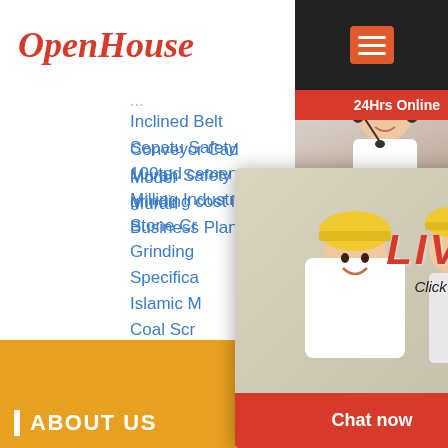[Figure (logo): OpenHouse logo in red italic script font]
Inclined Belt Conveyor Cad Model
Sepatu Safety Murah Safety Shoes Murah
100tpd cement grinding cost in india
Milling Industry Business Plan India
Stone Cr...
Grinding...
Specifica...
Islamic M...
Coal Scr...
INVESTIGATION ON CONCRETE WITH ST... DUST AS FINE AGGREGATE
What Is The Difference Between Open Cast An... Mining
[Figure (screenshot): Live Chat popup overlay with construction workers background, LIVE CHAT heading, 'Click for a Free Consultation' text, Chat now and Chat later buttons]
[Figure (photo): Customer service representative with headset on right sidebar, with 24Hrs Online header, Need questions & suggestion text, and Chat Now button]
Enquiry
mumumugoods
ABOUT US